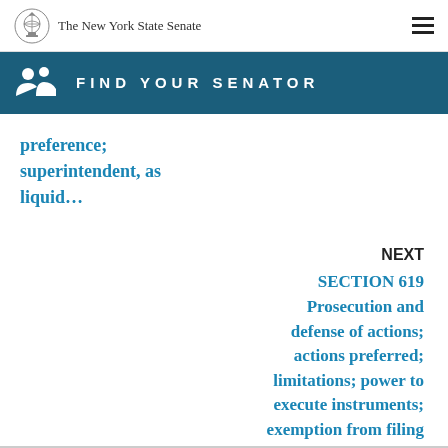The New York State Senate
FIND YOUR SENATOR
preference; superintendent, as liquid…
NEXT
SECTION 619
Prosecution and defense of actions; actions preferred; limitations; power to execute instruments; exemption from filing and other fees